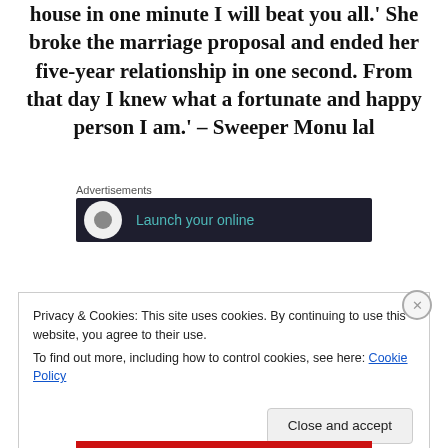house in one minute I will beat you all.' She broke the marriage proposal and ended her five-year relationship in one second. From that day I knew what a fortunate and happy person I am.' – Sweeper Monu lal
Advertisements
[Figure (other): Dark advertisement banner with circular logo and teal text reading 'Launch your online']
Privacy & Cookies: This site uses cookies. By continuing to use this website, you agree to their use.
To find out more, including how to control cookies, see here: Cookie Policy
Close and accept